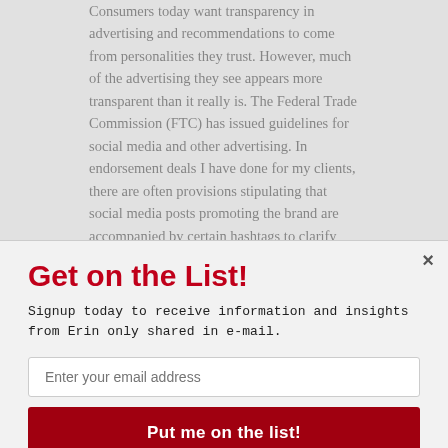Consumers today want transparency in advertising and recommendations to come from personalities they trust. However, much of the advertising they see appears more transparent than it really is. The Federal Trade Commission (FTC) has issued guidelines for social media and other advertising. In endorsement deals I have done for my clients, there are often provisions stipulating that social media posts promoting the brand are accompanied by certain hashtags to clarify that there is an agreement between the brand and the [POWERED BY SUMO] brand. However, these guidelines require that they
Get on the List!
Signup today to receive information and insights from Erin only shared in e-mail.
Enter your email address
Put me on the list!